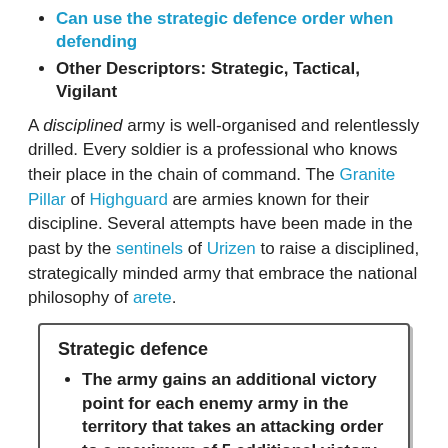Can use the strategic defence order when defending
Other Descriptors: Strategic, Tactical, Vigilant
A disciplined army is well-organised and relentlessly drilled. Every soldier is a professional who knows their place in the chain of command. The Granite Pillar of Highguard are armies known for their discipline. Several attempts have been made in the past by the sentinels of Urizen to raise a disciplined, strategically minded army that embrace the national philosophy of arete.
Strategic defence
The army gains an additional victory point for each enemy army in the territory that takes an attacking order to a maximum of 5 additional victory points.
The strategic army concentrates on orchestrating well planned defences designed